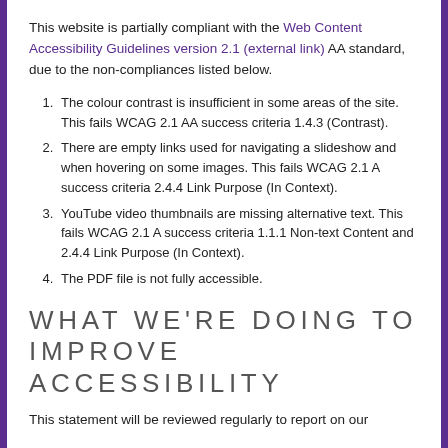This website is partially compliant with the Web Content Accessibility Guidelines version 2.1 (external link) AA standard, due to the non-compliances listed below.
The colour contrast is insufficient in some areas of the site. This fails WCAG 2.1 AA success criteria 1.4.3 (Contrast).
There are empty links used for navigating a slideshow and when hovering on some images. This fails WCAG 2.1 A success criteria 2.4.4 Link Purpose (In Context).
YouTube video thumbnails are missing alternative text. This fails WCAG 2.1 A success criteria 1.1.1 Non-text Content and 2.4.4 Link Purpose (In Context).
The PDF file is not fully accessible.
WHAT WE'RE DOING TO IMPROVE ACCESSIBILITY
This statement will be reviewed regularly to report on our